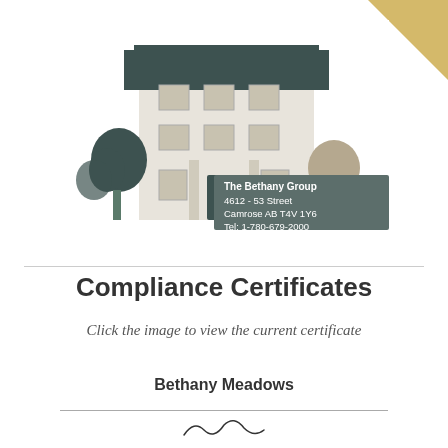[Figure (logo): The Bethany Group building illustration logo with address: 4612 - 53 Street, Camrose AB T4V 1Y6, Tel: 1-780-679-2000. Gold triangle decorative element in top-right corner.]
Compliance Certificates
Click the image to view the current certificate
Bethany Meadows